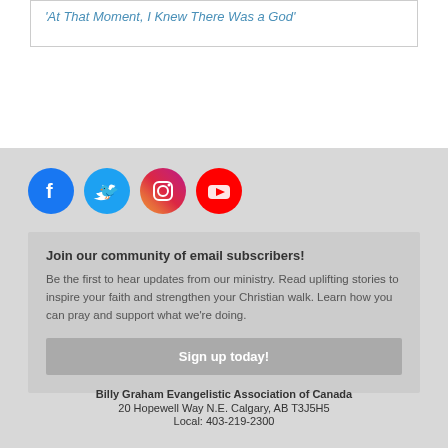'At That Moment, I Knew There Was a God'
[Figure (illustration): Row of four social media icons: Facebook (blue circle), Twitter (light blue circle), Instagram (gradient pink/red circle), YouTube (red circle)]
Join our community of email subscribers! Be the first to hear updates from our ministry. Read uplifting stories to inspire your faith and strengthen your Christian walk. Learn how you can pray and support what we're doing.
Sign up today!
Billy Graham Evangelistic Association of Canada
20 Hopewell Way N.E. Calgary, AB T3J5H5
Local: 403-219-2300